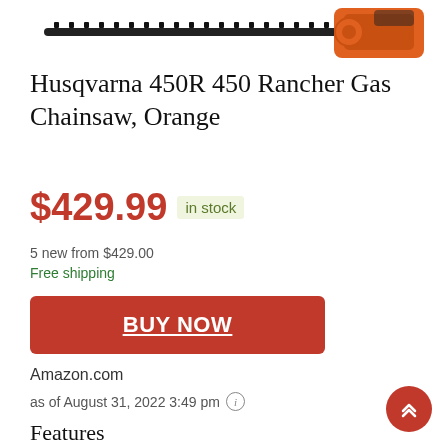[Figure (photo): Partial view of a Husqvarna 450R orange chainsaw bar and chain visible at the top of the page]
Husqvarna 450R 450 Rancher Gas Chainsaw, Orange
$429.99  in stock
5 new from $429.00
Free shipping
BUY NOW
Amazon.com
as of August 31, 2022 3:49 pm
Features